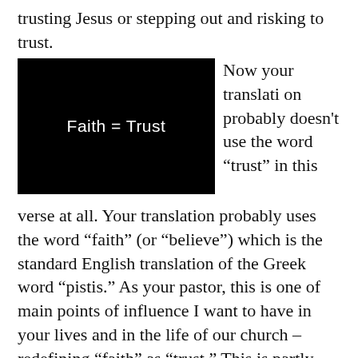trusting Jesus or stepping out and risking to trust.
[Figure (illustration): Black rectangle with white text reading 'Faith = Trust']
Now your translation probably doesn't use the word “trust” in this verse at all. Your translation probably uses the word “faith” (or “believe”) which is the standard English translation of the Greek word “pistis.” As your pastor, this is one of main points of influence I want to have in your lives and in the life of our church – redefining “faith” as “trust.” This is partly